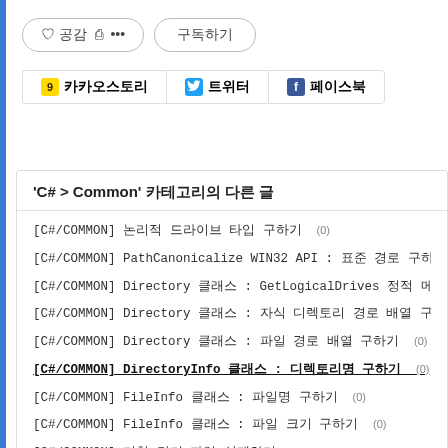[Figure (infographic): Social interaction bar with like (공감), share, and subscribe (구독하기) buttons]
[Figure (infographic): Social sharing buttons: 카카오스토리, 트위터, 페이스북]
'C# > Common' 카테고리의 다른 글
[C#/COMMON] 논리적 드라이브 타입 구하기 (0)
[C#/COMMON] PathCanonicalize WIN32 API : 표준 경로 구하기
[C#/COMMON] Directory 클래스 : GetLogicalDrives 정적 메소드
[C#/COMMON] Directory 클래스 : 자식 디렉토리 경로 배열 구하기
[C#/COMMON] Directory 클래스 : 파일 경로 배열 구하기 (0)
[C#/COMMON] DirectoryInfo 클래스 : 디렉토리명 구하기 (0)
[C#/COMMON] FileInfo 클래스 : 파일명 구하기 (0)
[C#/COMMON] FileInfo 클래스 : 파일 크기 구하기 (0)
[C#/COMMON] 기한 만기 파일 삭제하기 (0)
[C#/COMMON] DriveInfo 클래스 : GetDrives 정적 메소드